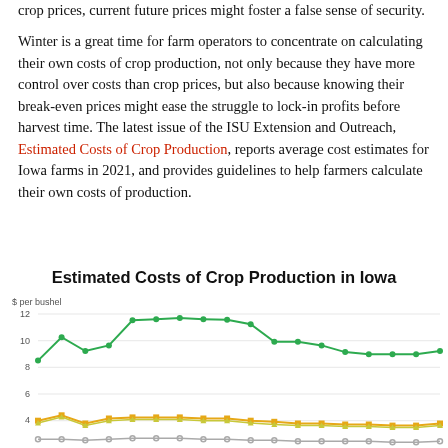crop prices, current future prices might foster a false sense of security.
Winter is a great time for farm operators to concentrate on calculating their own costs of crop production, not only because they have more control over costs than crop prices, but also because knowing their break-even prices might ease the struggle to lock-in profits before harvest time. The latest issue of the ISU Extension and Outreach, Estimated Costs of Crop Production, reports average cost estimates for Iowa farms in 2021, and provides guidelines to help farmers calculate their own costs of production.
Estimated Costs of Crop Production in Iowa
[Figure (line-chart): Estimated Costs of Crop Production in Iowa]